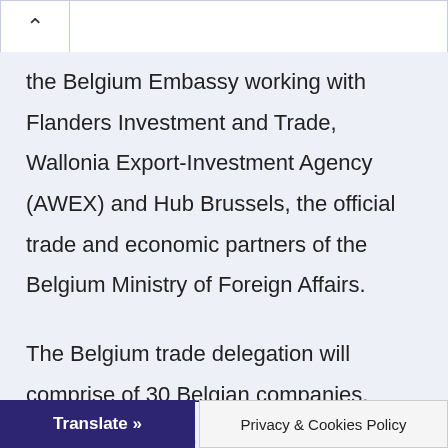the Belgium Embassy working with Flanders Investment and Trade, Wallonia Export-Investment Agency (AWEX) and Hub Brussels, the official trade and economic partners of the Belgium Ministry of Foreign Affairs.
The Belgium trade delegation will comprise of 30 Belgian companies, business leaders, entrepreneurs, professionals and experts form the Transport (infrastructure and service; harbours, airports, waterways, railway), ICT, Telecommunication,
Translate »    Privacy & Cookies Policy